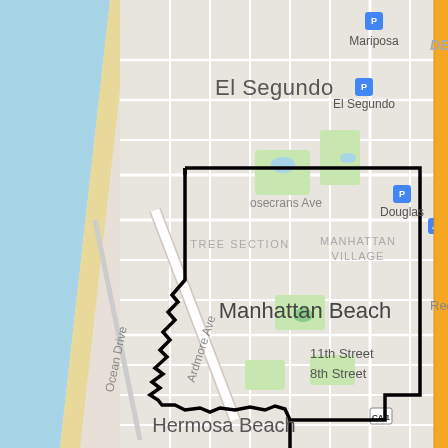[Figure (map): Street map of the Manhattan Beach, California area showing El Segundo to the north, Hermosa Beach to the south, with a bold black boundary outline demarcating the city of Manhattan Beach. The map shows Ocean Drive along the coast, Mariposa, Ardmore Ave, 11th Street, 8th Street, Tree Section, Manhattan Village neighborhood labels, Douglas and El Segundo transit icons, Rindge Lane to the east, and CA-1 highway marker.]